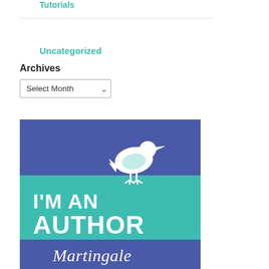Tutorials
Uncategorized
Archives
Select Month
[Figure (illustration): Badge graphic with a white bird silhouette on a blue/teal background. Text reads 'I'M AN AUTHOR' in large white bold letters on teal, and 'Martingale' on blue at the bottom.]